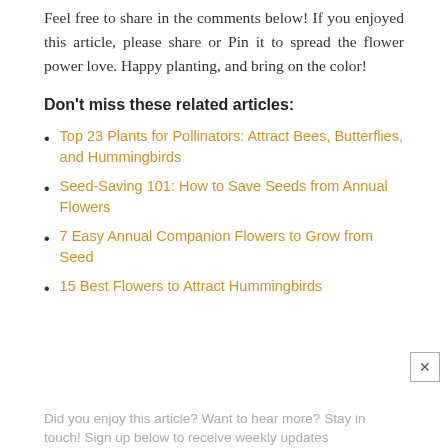Feel free to share in the comments below! If you enjoyed this article, please share or Pin it to spread the flower power love. Happy planting, and bring on the color!
Don't miss these related articles:
Top 23 Plants for Pollinators: Attract Bees, Butterflies, and Hummingbirds
Seed-Saving 101: How to Save Seeds from Annual Flowers
7 Easy Annual Companion Flowers to Grow from Seed
15 Best Flowers to Attract Hummingbirds
Did you enjoy this article? Want to hear more? Stay in touch! Sign up below to receive weekly updates